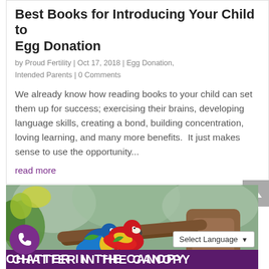Best Books for Introducing Your Child to Egg Donation
by Proud Fertility | Oct 17, 2018 | Egg Donation, Intended Parents | 0 Comments
We already know how reading books to your child can set them up for success; exercising their brains, developing language skills, creating a bond, building concentration, loving learning, and many more benefits.  It just makes sense to use the opportunity...
read more
[Figure (photo): Two macaw parrots perched on a branch in a tropical forest setting]
CHATTER IN THE CANOPY